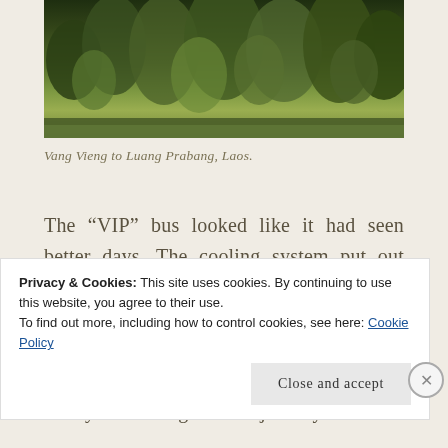[Figure (photo): Lush green forested hillside with trees, viewed from Vang Vieng to Luang Prabang road in Laos.]
Vang Vieng to Luang Prabang, Laos.
The “VIP” bus looked like it had seen better days. The cooling system put out musty air and operated with a near constant whine coming from somewhere in the back of the bus. The seat covers were not only worn but torn too. But the bus appeared sturdy and throughout the journey I
Privacy & Cookies: This site uses cookies. By continuing to use this website, you agree to their use.
To find out more, including how to control cookies, see here: Cookie Policy
Close and accept